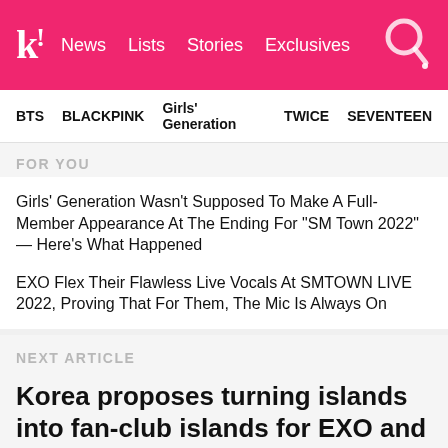koreaboo! — News | Lists | Stories | Exclusives
BTS   BLACKPINK   Girls' Generation   TWICE   SEVENTEEN
FOR YOU
Girls' Generation Wasn't Supposed To Make A Full-Member Appearance At The Ending For "SM Town 2022" — Here's What Happened
EXO Flex Their Flawless Live Vocals At SMTOWN LIVE 2022, Proving That For Them, The Mic Is Always On
NEXT ARTICLE
Korea proposes turning islands into fan-club islands for EXO and Kim Go Eun